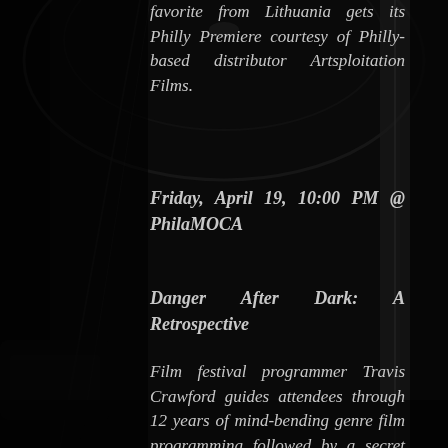favorite from Lithuania gets its Philly Premiere courtesy of Philly-based distributor Artsploitation Films.
Friday, April 19, 10:00 PM @ PhilaMOCA
Danger After Dark: A Retrospective
Film festival programmer Travis Crawford guides attendees through 12 years of mind-bending genre film programming followed by a secret screening of one of